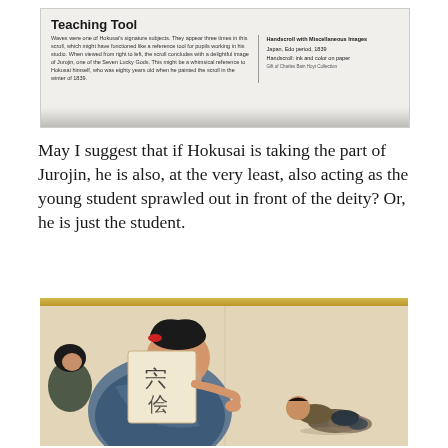[Figure (photo): Museum teaching tool placard/card with heading 'Teaching Tool', descriptive text about Hokusai's scroll with waves and the deity Jurojin, and a panel on the right side showing artwork details: 'Handscroll with Miscellaneous Images, Japan, Edo period, 1839, Handscroll: ink and color on paper']
May I suggest that if Hokusai is taking the part of Jurojin, he is also, at the very least, also acting as the young student sprawled out in front of the deity? Or, he is just the student.
[Figure (photo): Photograph of a section of a Japanese handscroll painting (Edo period) showing the deity Jurojin as a large, rotund, bearded figure with dark hair, holding an open scroll with Japanese characters, and a small young student figure sprawled/prostrated on the ground in front of him to the right.]